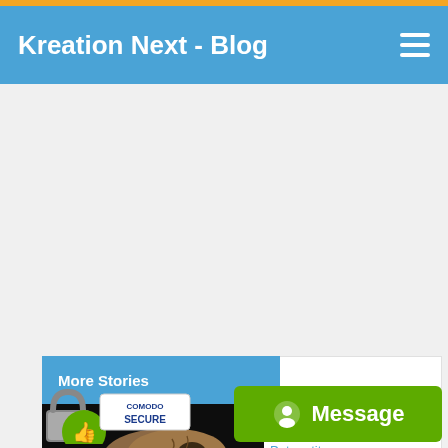Kreation Next - Blog
[Figure (screenshot): Advertisement/blank white space area below header]
More Stories
[Figure (photo): Dinosaur fossil skull photograph on dark background]
ew heavyweight ch dinosaurs: Patagotitan
[Figure (logo): Comodo Secure badge with thumbs up icon]
[Figure (other): Message button - green button with alien/circle icon and text Message]